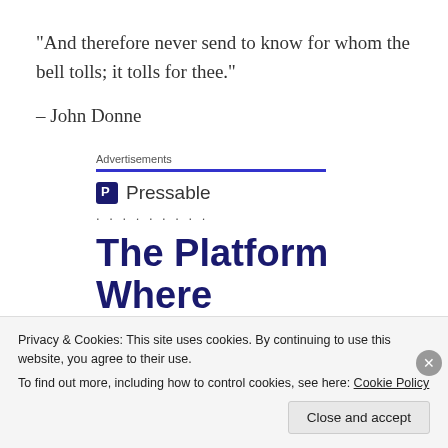“And therefore never send to know for whom the bell tolls; it tolls for thee.”
– John Donne
Advertisements
[Figure (logo): Pressable logo with icon and text, followed by dots and ad headline: The Platform Where WordPress Works Best]
Privacy & Cookies: This site uses cookies. By continuing to use this website, you agree to their use.
To find out more, including how to control cookies, see here: Cookie Policy